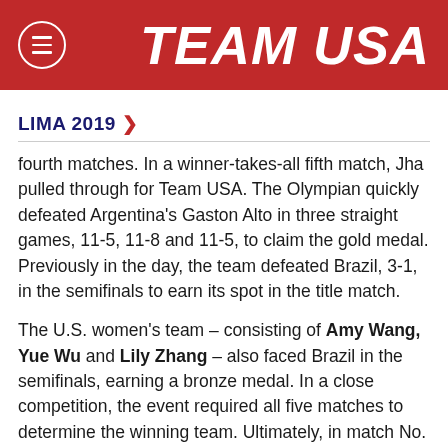TEAM USA
LIMA 2019 >
fourth matches. In a winner-takes-all fifth match, Jha pulled through for Team USA. The Olympian quickly defeated Argentina's Gaston Alto in three straight games, 11-5, 11-8 and 11-5, to claim the gold medal. Previously in the day, the team defeated Brazil, 3-1, in the semifinals to earn its spot in the title match.
The U.S. women's team – consisting of Amy Wang, Yue Wu and Lily Zhang – also faced Brazil in the semifinals, earning a bronze medal. In a close competition, the event required all five matches to determine the winning team. Ultimately, in match No. 5, Team USA fell to Brazil for a final score of 2-3. Despite the loss, the team's strong play